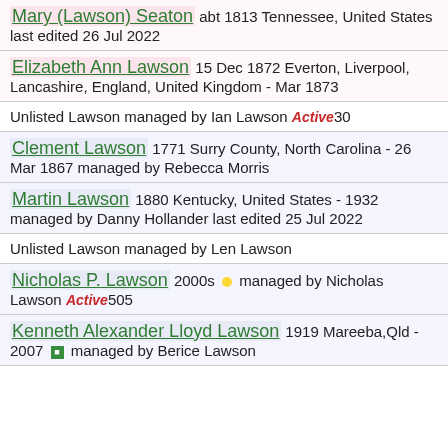Mary (Lawson) Seaton abt 1813 Tennessee, United States last edited 26 Jul 2022
Elizabeth Ann Lawson 15 Dec 1872 Everton, Liverpool, Lancashire, England, United Kingdom - Mar 1873
Unlisted Lawson managed by Ian Lawson Active 30
Clement Lawson 1771 Surry County, North Carolina - 26 Mar 1867 managed by Rebecca Morris
Martin Lawson 1880 Kentucky, United States - 1932 managed by Danny Hollander last edited 25 Jul 2022
Unlisted Lawson managed by Len Lawson
Nicholas P. Lawson 2000s managed by Nicholas Lawson Active 505
Kenneth Alexander Lloyd Lawson 1919 Mareeba,Qld - 2007 managed by Berice Lawson